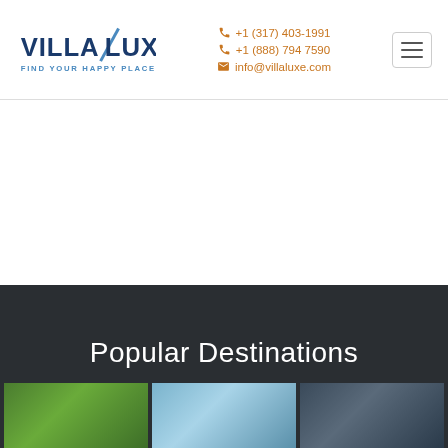Villa Luxe — Find Your Happy Place | +1 (317) 403-1991 | +1 (888) 794 7590 | info@villaluxe.com
Popular Destinations
[Figure (photo): Three destination thumbnail photos at the bottom: green tropical landscape, blue mountain/lake scene, dark mountain scene]